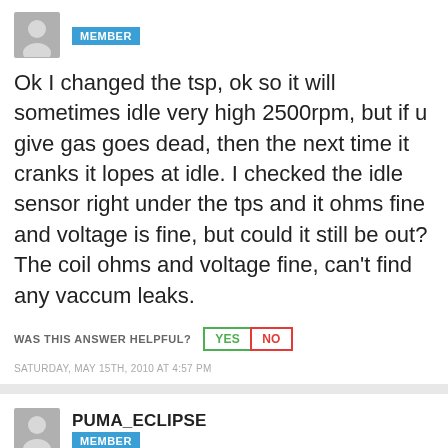[Figure (illustration): Grey avatar placeholder icon for anonymous user]
MEMBER
Ok I changed the tsp, ok so it will sometimes idle very high 2500rpm, but if u give gas goes dead, then the next time it cranks it lopes at idle. I checked the idle sensor right under the tps and it ohms fine and voltage is fine, but could it still be out? The coil ohms and voltage fine, can't find any vaccum leaks.
WAS THIS ANSWER HELPFUL?   YES   NO
SATURDAY, MAY 15TH, 2010 AT 4:57 PM
[Figure (illustration): Grey avatar placeholder icon for user PUMA_ECLIPSE]
PUMA_ECLIPSE
MEMBER